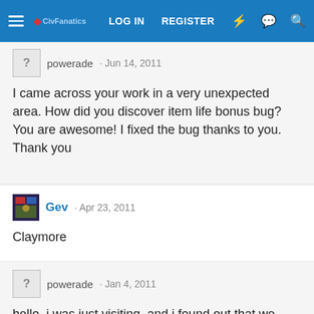LOG IN   REGISTER
powerade · Jun 14, 2011
I came across your work in a very unexpected area. How did you discover item life bonus bug? You are awesome! I fixed the bug thanks to you. Thank you
Gev · Apr 23, 2011
Claymore
powerade · Jan 4, 2011
hello, i was just visiting, and i found out that we share same nationality (and age) so in suprise, i leave comment here.